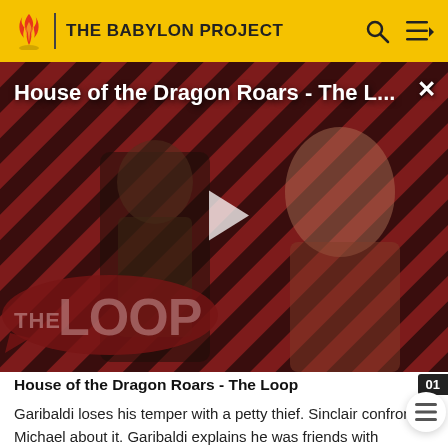THE BABYLON PROJECT
[Figure (screenshot): Video thumbnail for 'House of the Dragon Roars - The L...' with diagonal red and black stripe background, two figures in medieval/fantasy costumes, a play button overlay, and THE LOOP logo in the bottom left.]
House of the Dragon Roars - The Loop
Garibaldi loses his temper with a petty thief. Sinclair confronts Michael about it. Garibaldi explains he was friends with Lianna's father, Frank, when she was a child. Frank was killed as a way of getting at Garibaldi